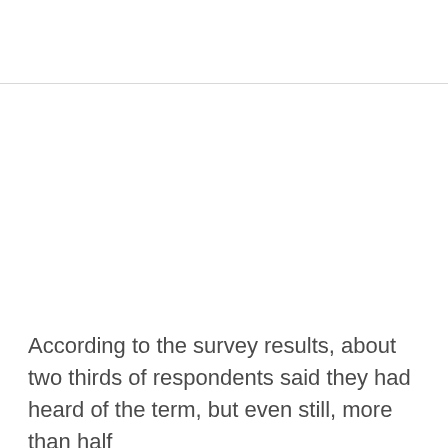According to the survey results, about two thirds of respondents said they had heard of the term, but even still, more than half